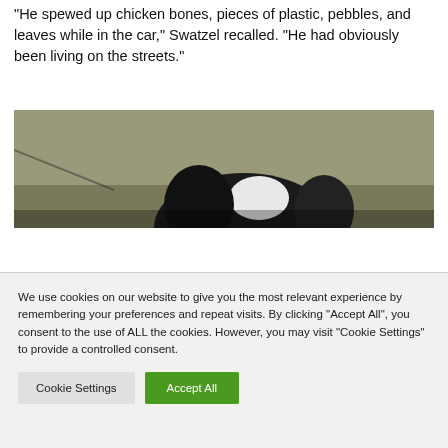“He spewed up chicken bones, pieces of plastic, pebbles, and leaves while in the car,” Swatzel recalled. “He had obviously been living on the streets.”
[Figure (photo): A partially visible photograph showing the top portion of a dog (appears to be a Boston Terrier or similar breed with black and white coloring) against a grayish-tan wall background.]
We use cookies on our website to give you the most relevant experience by remembering your preferences and repeat visits. By clicking “Accept All”, you consent to the use of ALL the cookies. However, you may visit "Cookie Settings" to provide a controlled consent.